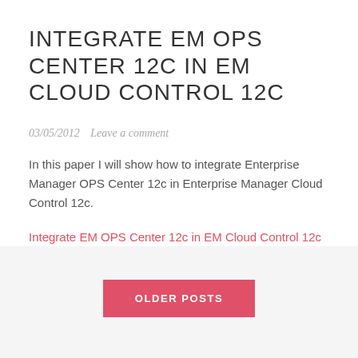INTEGRATE EM OPS CENTER 12C IN EM CLOUD CONTROL 12C
03/05/2012   Leave a comment
In this paper I will show how to integrate Enterprise Manager OPS Center 12c in Enterprise Manager Cloud Control 12c.
Integrate EM OPS Center 12c in EM Cloud Control 12c
OLDER POSTS